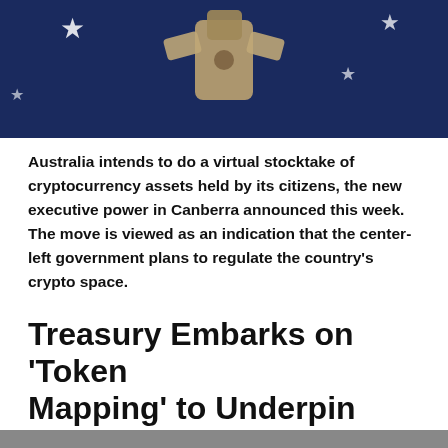[Figure (photo): Australian flag with a metal padlock/bolt on top, symbolizing cryptocurrency security and regulation]
Australia intends to do a virtual stocktake of cryptocurrency assets held by its citizens, the new executive power in Canberra announced this week. The move is viewed as an indication that the center-left government plans to regulate the country's crypto space.
Treasury Embarks on 'Token Mapping' to Underpin Crypto Regulation in Australia
As part of efforts to adopt rules for the cryptocurrency